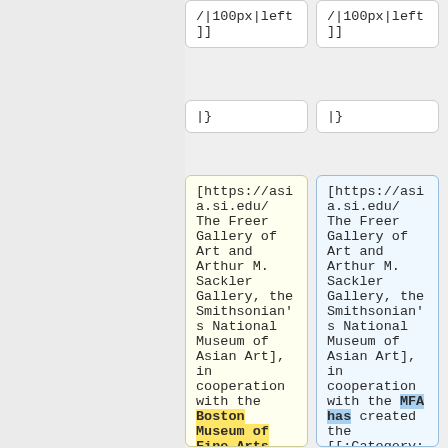/|100px|left]]
/|100px|left]]
|}
|}
[https://asia.si.edu/ The Freer Gallery of Art and Arthur M. Sackler Gallery, the Smithsonian's National Museum of Asian Art], in cooperation with the Boston Museum of Fine Arts
[https://asia.si.edu/ The Freer Gallery of Art and Arthur M. Sackler Gallery, the Smithsonian's National Museum of Asian Art], in cooperation with the MFA has created the [[:Category: